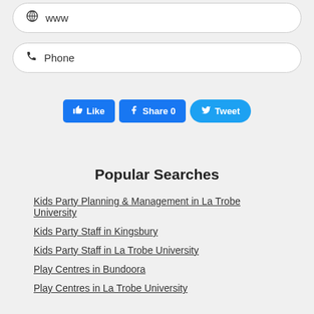[Figure (screenshot): Input field with globe icon and 'www' text]
[Figure (screenshot): Input field with phone icon and 'Phone' text]
[Figure (screenshot): Social media buttons: Like, Share 0, Tweet]
Popular Searches
Kids Party Planning & Management in La Trobe University
Kids Party Staff in Kingsbury
Kids Party Staff in La Trobe University
Play Centres in Bundoora
Play Centres in La Trobe University